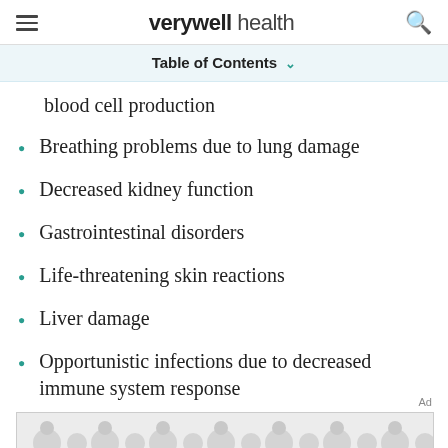verywell health
Table of Contents
blood cell production
Breathing problems due to lung damage
Decreased kidney function
Gastrointestinal disorders
Life-threatening skin reactions
Liver damage
Opportunistic infections due to decreased immune system response
[Figure (other): Advertisement banner with decorative circular pattern]